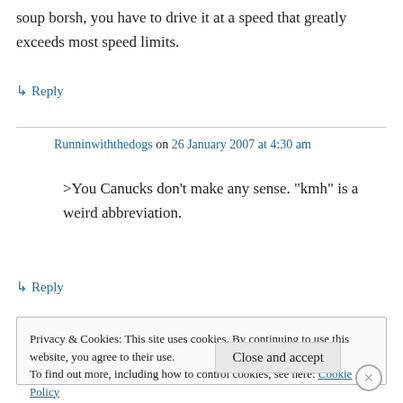soup borsh, you have to drive it at a speed that greatly exceeds most speed limits.
↳ Reply
Runninwiththedogs on 26 January 2007 at 4:30 am
>You Canucks don't make any sense. "kmh" is a weird abbreviation.
↳ Reply
Privacy & Cookies: This site uses cookies. By continuing to use this website, you agree to their use. To find out more, including how to control cookies, see here: Cookie Policy